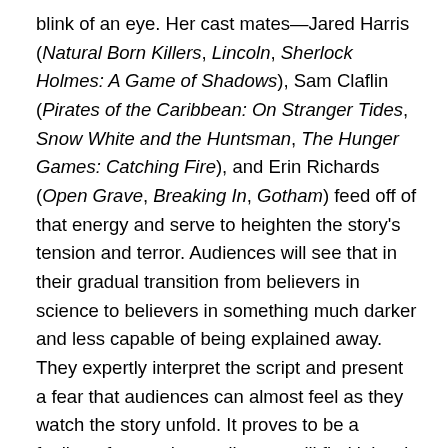blink of an eye.  Her cast mates—Jared Harris (Natural Born Killers, Lincoln, Sherlock Holmes: A Game of Shadows), Sam Claflin (Pirates of the Caribbean: On Stranger Tides, Snow White and the Huntsman, The Hunger Games: Catching Fire), and Erin Richards (Open Grave, Breaking In, Gotham) feed off of that energy and serve to heighten the story's tension and terror.  Audiences will see that in their gradual transition from believers in science to believers in something much darker and less capable of being explained away.  They expertly interpret the script and present a fear that audiences can almost feel as they watch the story unfold.  It proves to be a feeling of terror that audiences will find it hard to shake even after the movie ends.   That is one more sign of acting done right.  So, kudos are in order for the cast of The Quiet Ones for doing their part to make this movie a